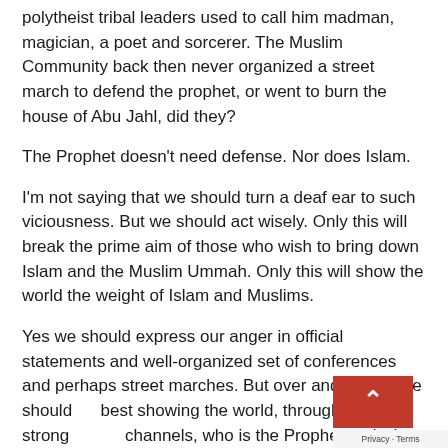polytheist tribal leaders used to call him madman, magician, a poet and sorcerer. The Muslim Community back then never organized a street march to defend the prophet, or went to burn the house of Abu Jahl, did they?
The Prophet doesn't need defense. Nor does Islam.
I'm not saying that we should turn a deaf ear to such viciousness. But we should act wisely. Only this will break the prime aim of those who wish to bring down Islam and the Muslim Ummah. Only this will show the world the weight of Islam and Muslims.
Yes we should express our anger in official statements and well-organized set of conferences and perhaps street marches. But over and above, we should be best showing the world, through equally strong channels, who is the Prophet and what is Islam.